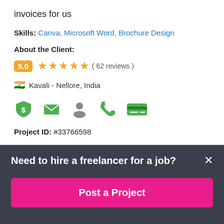invoices for us
Skills: Canva, Microsoft Word, Brochure Design
About the Client:
5.0 ★★★★★ ( 62 reviews )
🇮🇳 Kavali - Nellore, India
[Figure (infographic): Row of 5 green icons: shield with dollar sign, envelope, person silhouette, phone, credit card/ID card]
Project ID: #33766598
Need to hire a freelancer for a job?
Post a Project